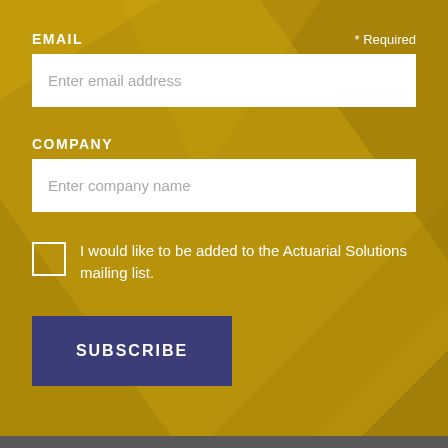EMAIL
* Required
Enter email address
COMPANY
Enter company name
I would like to be added to the Actuarial Solutions mailing list.
SUBSCRIBE